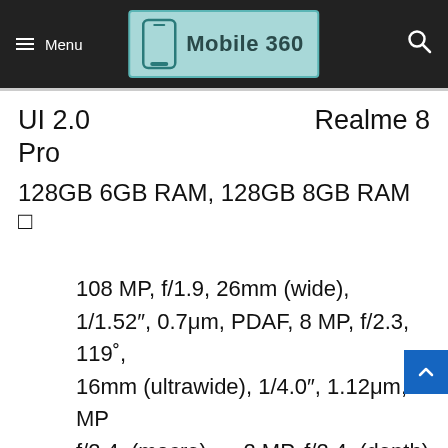Menu  Mobile 360
UI 2.0   Realme 8 Pro
128GB 6GB RAM, 128GB 8GB RAM 🔲
108 MP, f/1.9, 26mm (wide), 1/1.52″, 0.7μm, PDAF, 8 MP, f/2.3, 119˚, 16mm (ultrawide), 1/4.0″, 1.12μm, 2 MP f/2.4, (macro)   2 MP, f/2.4, (depth) 4K@30f...